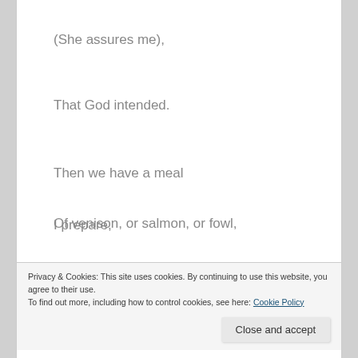(She assures me),
That God intended.
Then we have a meal
I prepare,
Of venison, or salmon, or fowl,
Privacy & Cookies: This site uses cookies. By continuing to use this website, you agree to their use.
To find out more, including how to control cookies, see here: Cookie Policy
Close and accept